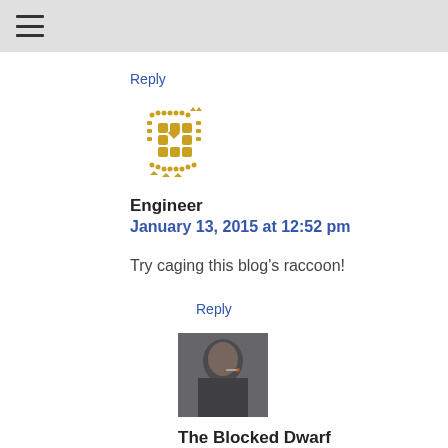☰
Reply
[Figure (illustration): Golden pixel/geometric avatar for user Engineer]
Engineer
January 13, 2015 at 12:52 pm
Try caging this blog's raccoon!
Reply
[Figure (photo): Profile photo of The Blocked Dwarf]
The Blocked Dwarf
January 13, 2015 at 1:05 pm
I'm sure Mr G has hand crafted a beautiful but secure wooden box or